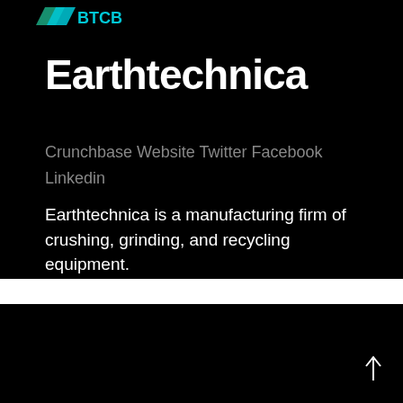[Figure (logo): Partial company logo visible at top left, green and teal colored mark with partial text 'BTCB' or similar]
Earthtechnica
Crunchbase Website Twitter Facebook Linkedin
Earthtechnica is a manufacturing firm of crushing, grinding, and recycling equipment.
[Figure (screenshot): Black background section at the bottom of the page with a white arrow/up icon in the lower right corner]